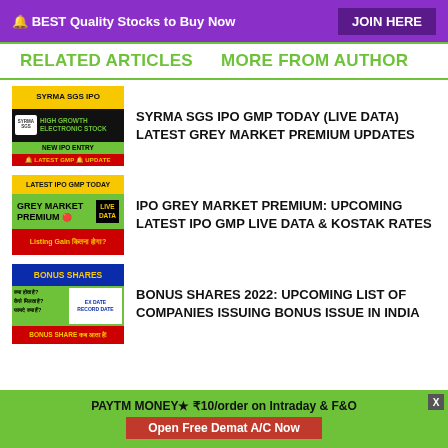🔔 BEST Quality Stocks to Buy Now   JOIN HERE
RELATED ARTICLES   MORE FROM AUTHOR
[Figure (illustration): Syrma SGS IPO thumbnail with yellow/black/green/red sections]
SYRMA SGS IPO GMP TODAY (LIVE DATA) LATEST GREY MARKET PREMIUM UPDATES
[Figure (illustration): IPO GMP Today thumbnail with yellow/green/red sections and LIVE DATA badge]
IPO GREY MARKET PREMIUM: UPCOMING LATEST IPO GMP LIVE DATA & KOSTAK RATES
[Figure (illustration): Bonus Shares thumbnail with blue/green/red sections]
BONUS SHARES 2022: UPCOMING LIST OF COMPANIES ISSUING BONUS ISSUE IN INDIA
PAYTM MONEY★ ₹10/order on Intraday & F&O  Open Free Demat A/C Now